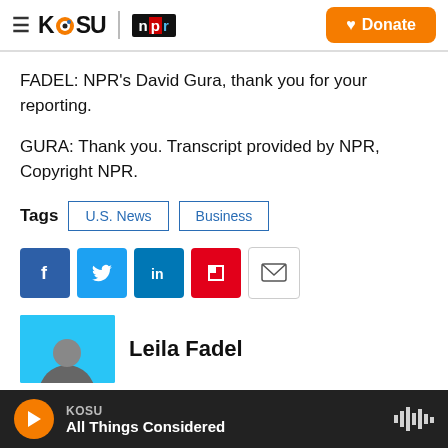KOSU | NPR  Donate
FADEL: NPR's David Gura, thank you for your reporting.
GURA: Thank you. Transcript provided by NPR, Copyright NPR.
Tags  U.S. News  Business
[Figure (other): Social sharing icons: Facebook, Twitter, LinkedIn, Flipboard, Email]
[Figure (photo): Author photo thumbnail for Leila Fadel, blue background with circular avatar]
Leila Fadel
KOSU  All Things Considered